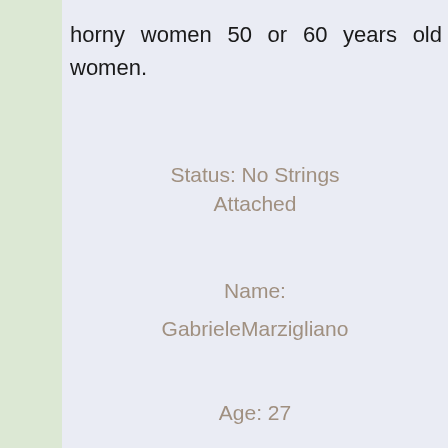horny women 50 or 60 years old women.
Status: No Strings Attached
Name: GabrieleMarzigliano
Age: 27